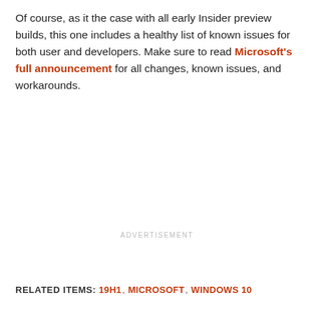Of course, as it the case with all early Insider preview builds, this one includes a healthy list of known issues for both user and developers. Make sure to read Microsoft's full announcement for all changes, known issues, and workarounds.
ADVERTISEMENT
RELATED ITEMS: 19H1, MICROSOFT, WINDOWS 10
ADVERTISEMENT